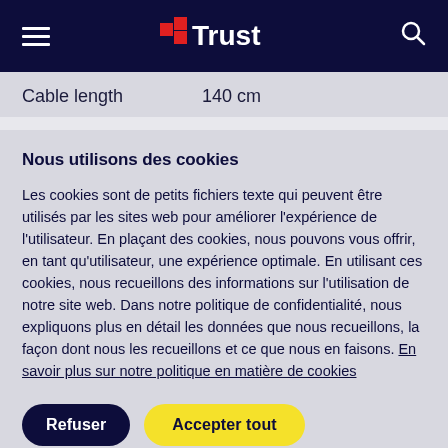Trust (navigation bar with hamburger menu, Trust logo, and search icon)
Cable length   140 cm
Nous utilisons des cookies
Les cookies sont de petits fichiers texte qui peuvent être utilisés par les sites web pour améliorer l'expérience de l'utilisateur. En plaçant des cookies, nous pouvons vous offrir, en tant qu'utilisateur, une expérience optimale. En utilisant ces cookies, nous recueillons des informations sur l'utilisation de notre site web. Dans notre politique de confidentialité, nous expliquons plus en détail les données que nous recueillons, la façon dont nous les recueillons et ce que nous en faisons. En savoir plus sur notre politique en matière de cookies
Refuser
Accepter tout
Paramètres des cookies